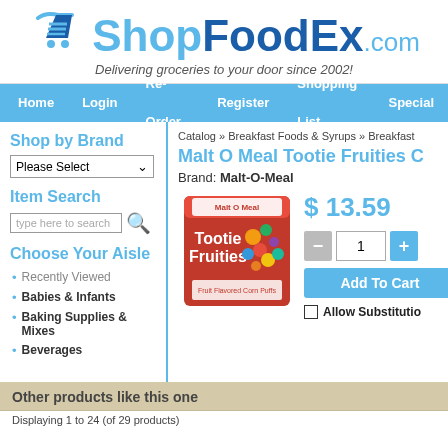[Figure (logo): ShopFoodEx.com logo with shopping cart icon and tagline 'Delivering groceries to your door since 2002!']
Home   Login   Re-Order   Register   Shopping List   Special
Shop by Brand
Please Select
Item Search
type here to search
Choose Your Aisle
Recently Viewed
Babies & Infants
Baking Supplies & Mixes
Beverages
Catalog » Breakfast Foods & Syrups » Breakfast
Malt O Meal Tootie Fruities C
Brand: Malt-O-Meal
[Figure (photo): Malt O Meal Tootie Fruities cereal bag product image]
$ 13.59
1
Add To Cart
Allow Substitutio
Other products like this one
Displaying 1 to 24 (of 29 products)